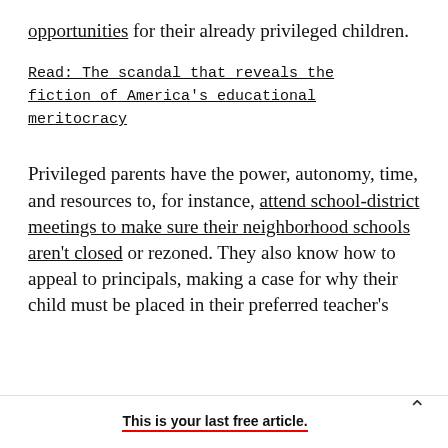opportunities for their already privileged children.
Read: The scandal that reveals the fiction of America's educational meritocracy
Privileged parents have the power, autonomy, time, and resources to, for instance, attend school-district meetings to make sure their neighborhood schools aren't closed or rezoned. They also know how to appeal to principals, making a case for why their child must be placed in their preferred teacher's
This is your last free article.